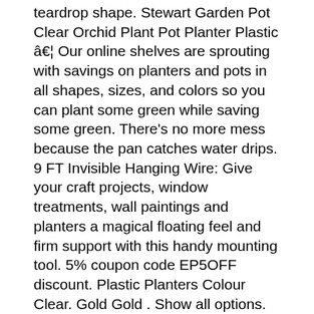teardrop shape. Stewart Garden Pot Clear Orchid Plant Pot Planter Plastic â€¦ Our online shelves are sprouting with savings on planters and pots in all shapes, sizes, and colors so you can plant some green while saving some green. There's no more mess because the pan catches water drips. 9 FT Invisible Hanging Wire: Give your craft projects, window treatments, wall paintings and planters a magical floating feel and firm support with this handy mounting tool. 5% coupon code EP5OFF discount. Plastic Planters Colour Clear. Gold Gold . Show all options. Plastic Saucer Plus Protect your floors, carpets, furniture and Protect your floors, carpets, furniture and decks from dirt or water stains with the help of the 12 in. Stock up on $1 decorative planters, clay pots, hanging planters, starter pots, and so much more. Price. Get it fast. Made from plastic, each of the planters has a 1318.4-ounce capacity, so theyâ€™re ideal for larger plants. Q1. Plastic flower and plant pots offer great choice as they come in a variety of shapes, colours and sizes. Size. VENDOR. Flower Pot & Hanging Planters Founded in the year 2019 , we â€œGardencia Technologyâ€ are a dependable and famous Manufacturer of a broad range of Flower Pot, Hanging Planters, Plastic Pot, Plastic Planter,